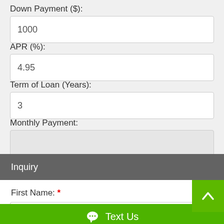Down Payment ($):
1000
APR (%):
4.95
Term of Loan (Years):
3
Monthly Payment:
Inquiry
First Name: *
Text Us